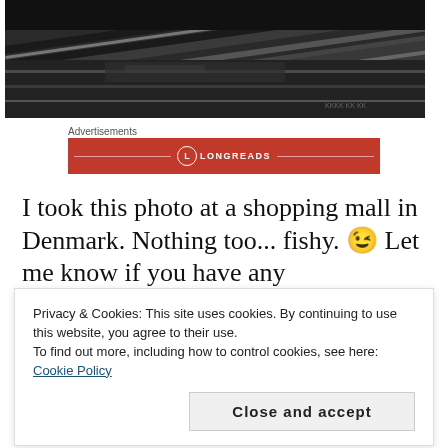[Figure (photo): Black and white photograph of escalators or moving walkways in a shopping mall, viewed from an angle showing the metallic handrails and tracks.]
Advertisements
[Figure (logo): Longreads advertisement banner in red with a circular logo and the text LONGREADS in white capital letters.]
I took this photo at a shopping mall in Denmark. Nothing too... fishy. 😉 Let me know if you have any
Privacy & Cookies: This site uses cookies. By continuing to use this website, you agree to their use.
To find out more, including how to control cookies, see here: Cookie Policy

Close and accept